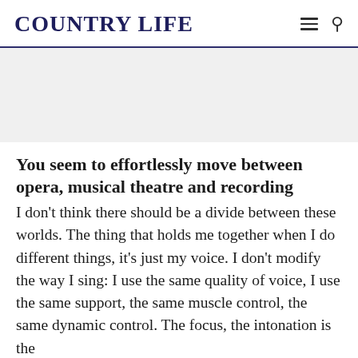COUNTRY LIFE
[Figure (other): Advertisement placeholder rectangle, light grey background]
You seem to effortlessly move between opera, musical theatre and recording
I don't think there should be a divide between these worlds. The thing that holds me together when I do different things, it's just my voice. I don't modify the way I sing: I use the same quality of voice, I use the same support, the same muscle control, the same dynamic control. The focus, the intonation is the